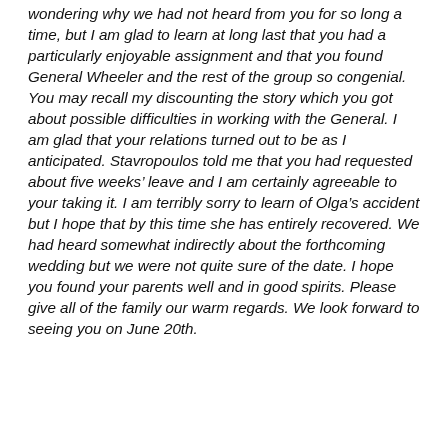wondering why we had not heard from you for so long a time, but I am glad to learn at long last that you had a particularly enjoyable assignment and that you found General Wheeler and the rest of the group so congenial. You may recall my discounting the story which you got about possible difficulties in working with the General. I am glad that your relations turned out to be as I anticipated. Stavropoulos told me that you had requested about five weeks' leave and I am certainly agreeable to your taking it. I am terribly sorry to learn of Olga's accident but I hope that by this time she has entirely recovered. We had heard somewhat indirectly about the forthcoming wedding but we were not quite sure of the date. I hope you found your parents well and in good spirits. Please give all of the family our warm regards. We look forward to seeing you on June 20th.